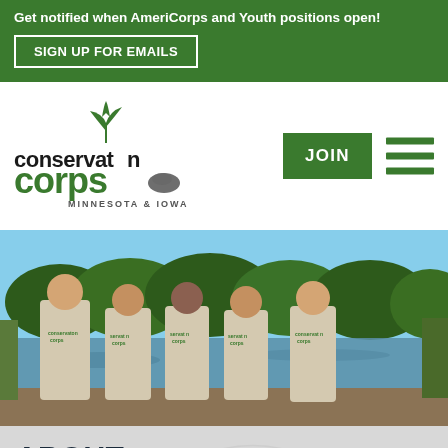Get notified when AmeriCorps and Youth positions open!
SIGN UP FOR EMAILS
[Figure (logo): Conservation Corps Minnesota & Iowa logo with plant/hand icon]
JOIN
[Figure (photo): Five young adults wearing Conservation Corps t-shirts standing near a lake with trees in background]
ABOUT